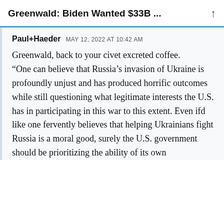Greenwald: Biden Wanted $33B ...
Paul+Haeder   MAY 12, 2022 AT 10:42 AM
Greenwald, back to your civet excreted coffee.
“One can believe that Russia’s invasion of Ukraine is profoundly unjust and has produced horrific outcomes while still questioning what legitimate interests the U.S. has in participating in this war to this extent. Even ifd like one fervently believes that helping Ukrainians fight Russia is a moral good, surely the U.S. government should be prioritizing the ability of its own